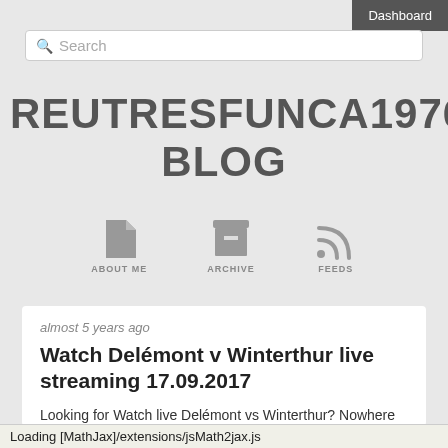Dashboard
Search
REUTRESFUNCA1976'S BLOG
[Figure (illustration): Navigation icons: About Me (document icon), Archive (box icon), Feeds (RSS icon)]
almost 5 years ago
Watch Delémont v Winterthur live streaming 17.09.2017
Looking for Watch live Delémont vs Winterthur? Nowhere couldn't find Watch live Delémont vs Winterthur? Do You
Loading [MathJax]/extensions/jsMath2jax.js